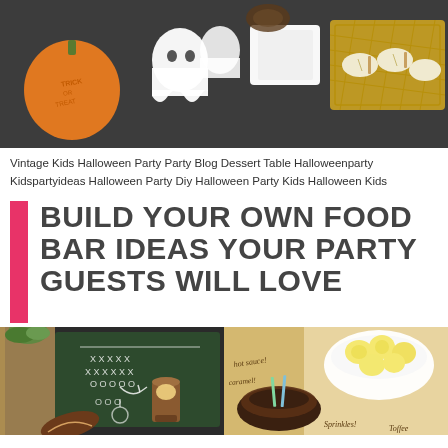[Figure (photo): Halloween party dessert table with ghost decorations, an orange pumpkin with 'Trick or Treat' text, white ghost cutouts, wrapped candy, and apple slice snacks on a dark tablecloth with gold lattice placemat]
Vintage Kids Halloween Party Party Blog Dessert Table Halloweenparty Kidspartyideas Halloween Party Diy Halloween Party Kids Halloween Kids
BUILD YOUR OWN FOOD BAR IDEAS YOUR PARTY GUESTS WILL LOVE
[Figure (photo): Football party food bar setup with chalkboard football play diagram, football prop, and food items]
[Figure (photo): Dessert food bar with banana slices in a bowl, chocolate fondue with sauce labels reading 'hot sauce', 'caramel', 'Sprinkles!', 'Toffee']